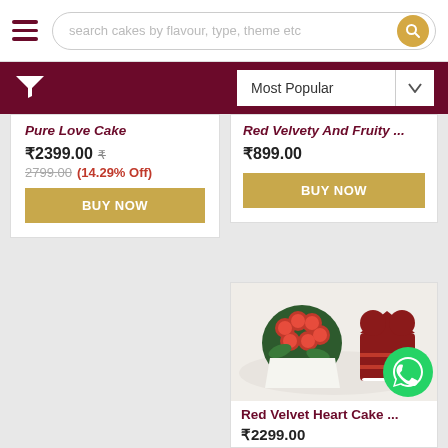search cakes by flavour, type, theme etc
Most Popular
Pure Love Cake
₹2399.00  ₹2799.00 (14.29% Off)
BUY NOW
Red Velvety And Fruity ...
₹899.00
BUY NOW
[Figure (photo): Red velvet heart cake with red roses bouquet and WhatsApp icon overlay]
Red Velvet Heart Cake ...
₹2299.00